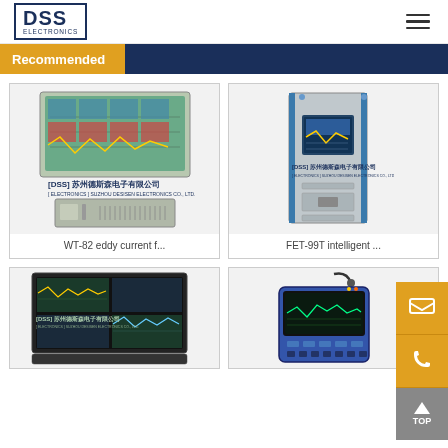DSS ELECTRONICS
Recommended
[Figure (photo): WT-82 eddy current flaw detector - desktop unit with monitor showing waveform display and computer chassis]
WT-82 eddy current f...
[Figure (photo): FET-99T intelligent flaw detector - tall rack-mounted cabinet with display screen and blue trim]
FET-99T intelligent ...
[Figure (photo): Laptop-style portable flaw detector with waveform display screen, DSS Electronics branding]
[Figure (photo): Handheld portable flaw detector device with probe cable attached]